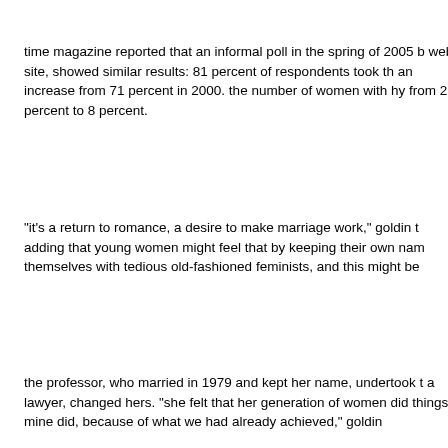time magazine reported that an informal poll in the spring of 2005 b web site, showed similar results: 81 percent of respondents took th an increase from 71 percent in 2000. the number of women with hy from 21 percent to 8 percent.
"it's a return to romance, a desire to make marriage work," goldin t adding that young women might feel that by keeping their own nam themselves with tedious old-fashioned feminists, and this might be
the professor, who married in 1979 and kept her name, undertook t a lawyer, changed hers. "she felt that her generation of women did things mine did, because of what we had already achieved," goldin
many women now do not think of domestic life as a "comfortable co betty friedan wrote in "the feminine mystique," where they are losin turning into "anonymous biological robots in a docile mass." now th anonymous biological robot in a docile mass. they dream of being n to stay home and be taken care of. they shop for "stepford fashions ladylike bags and the 50's-style satin, lace and chiffon party dresse layouts - and spend their days at the gym trying for wisteria lane w
the times recently ran a front-page article about young women atte colleges, women who are being groomed to take their places in the political elite, who are planning to reject careers in favor of playing home and raising children.
"my mother always told me you can't be the best career woman an